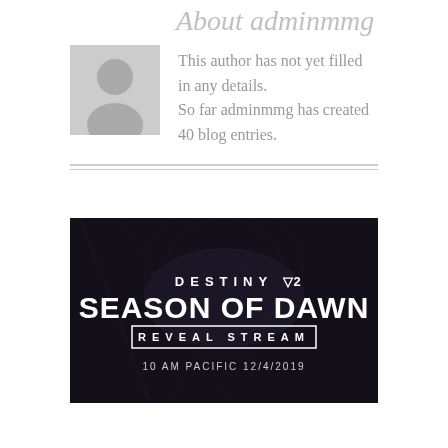About adminmmg
This author has not yet filled in any details.
So far adminmmg has created 40 blog entries.
[Figure (illustration): Destiny 2 Season of Dawn Reveal Stream promotional image with dark background, large white text showing 'DESTINY Y2 SEASON OF DAWN REVEAL STREAM' with '10 AM PACIFIC 12/4/2019' at the bottom]